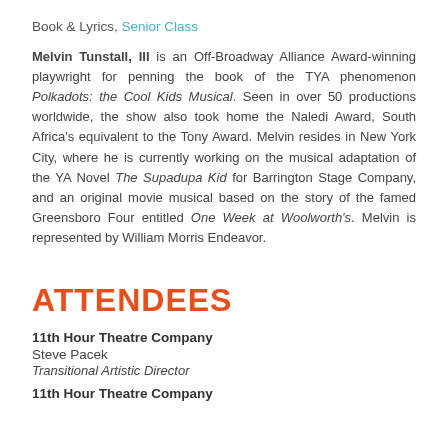Book & Lyrics, Senior Class
Melvin Tunstall, III is an Off-Broadway Alliance Award-winning playwright for penning the book of the TYA phenomenon Polkadots: the Cool Kids Musical. Seen in over 50 productions worldwide, the show also took home the Naledi Award, South Africa's equivalent to the Tony Award. Melvin resides in New York City, where he is currently working on the musical adaptation of the YA Novel The Supadupa Kid for Barrington Stage Company, and an original movie musical based on the story of the famed Greensboro Four entitled One Week at Woolworth's. Melvin is represented by William Morris Endeavor.
ATTENDEES
11th Hour Theatre Company
Steve Pacek
Transitional Artistic Director
11th Hour Theatre Company